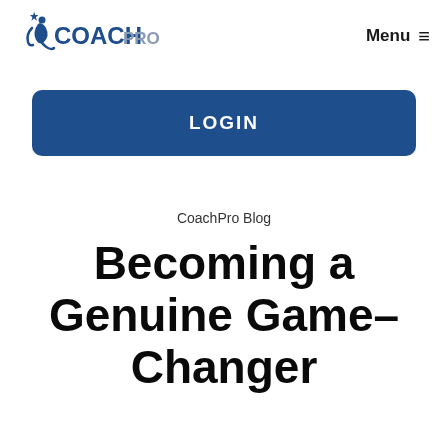[Figure (logo): CoachPro logo with stylized figure and star, text COACH in dark blue and PRO in gray]
Menu ≡
LOGIN
CoachPro Blog
Becoming a Genuine Game–Changer